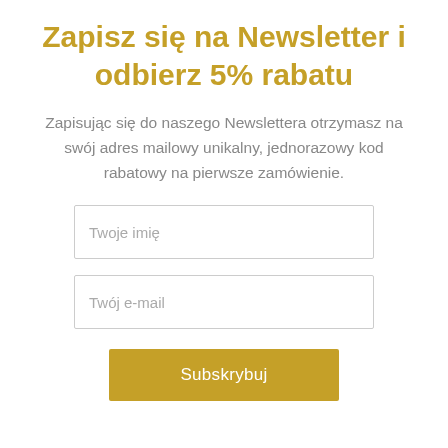Zapisz się na Newsletter i odbierz 5% rabatu
Zapisując się do naszego Newslettera otrzymasz na swój adres mailowy unikalny, jednorazowy kod rabatowy na pierwsze zamówienie.
Twoje imię
Twój e-mail
Subskrybuj